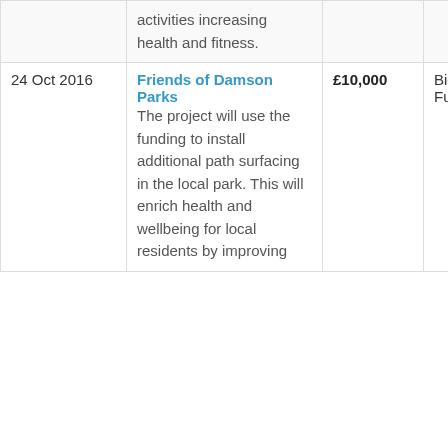| Date | Organisation / Description | Amount | Funder |
| --- | --- | --- | --- |
|  | activities increasing health and fitness. |  |  |
| 24 Oct 2016 | Friends of Damson Parks
The project will use the funding to install additional path surfacing in the local park. This will enrich health and wellbeing for local residents by improving | £10,000 | Big Lottery Fund |